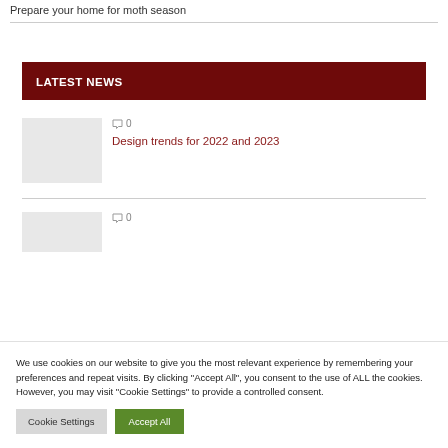Prepare your home for moth season
LATEST NEWS
○ 0
Design trends for 2022 and 2023
○ 0
We use cookies on our website to give you the most relevant experience by remembering your preferences and repeat visits. By clicking "Accept All", you consent to the use of ALL the cookies. However, you may visit "Cookie Settings" to provide a controlled consent.
Cookie Settings
Accept All